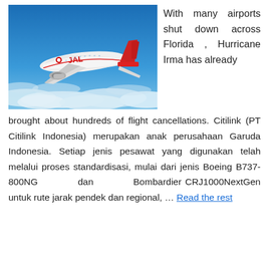[Figure (photo): A JAL (Japan Airlines) Boeing 777 aircraft in white and red livery flying above clouds against a blue sky.]
With many airports shut down across Florida , Hurricane Irma has already brought about hundreds of flight cancellations. Citilink (PT Citilink Indonesia) merupakan anak perusahaan Garuda Indonesia. Setiap jenis pesawat yang digunakan telah melalui proses standardisasi, mulai dari jenis Boeing B737-800NG dan Bombardier CRJ1000NextGen untuk rute jarak pendek dan regional, … Read the rest